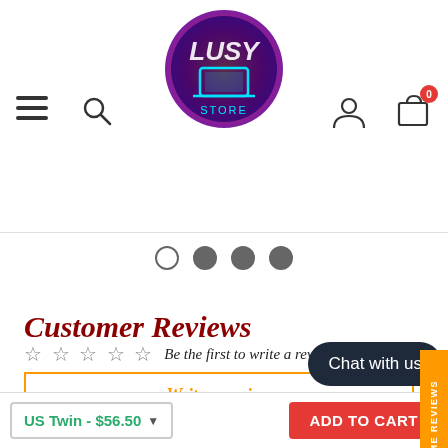[Figure (screenshot): E-commerce website header with hamburger menu, search icon, LUSY STORE logo (circular gradient logo with laptop graphic), user icon, and cart icon with badge showing 0]
[Figure (other): Carousel navigation dots: 4 dots, first is empty circle, next three are filled gray circles]
Customer Reviews
☆ ☆ ☆ ☆ ☆  Be the first to write a review
Write a review
[Figure (other): Judge.me Reviews sidebar tab in orange on the right edge]
The cookie settings on this website are set to 'allow all cookies' to give you the very best experience. Please click Accept Cookies to continue to use the site.
PRIVACY POLICY   ACCEPT
Chat with us
US Twin - $56.50   ADD TO CART